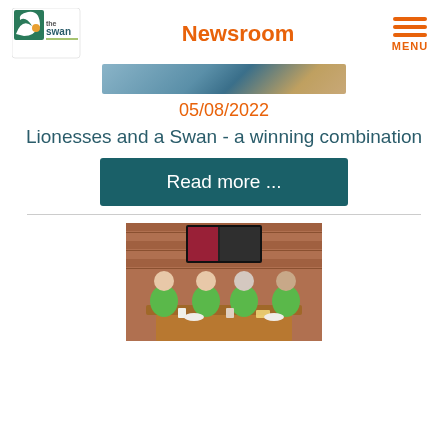Newsroom
[Figure (photo): Partial top image strip showing a blue and brown scene, cropped at top of page]
05/08/2022
Lionesses and a Swan - a winning combination
Read more ...
[Figure (photo): Four people in green t-shirts sitting at a wooden table with cups and plates, brick wall and TV screen in background]